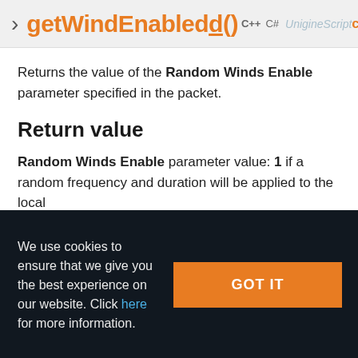getWindEnabled() const  C++  C#  UnigineScript
Returns the value of the Random Winds Enable parameter specified in the packet.
Return value
Random Winds Enable parameter value: 1 if a random frequency and duration will be applied to the local
We use cookies to ensure that we give you the best experience on our website. Click here for more information.
GOT IT